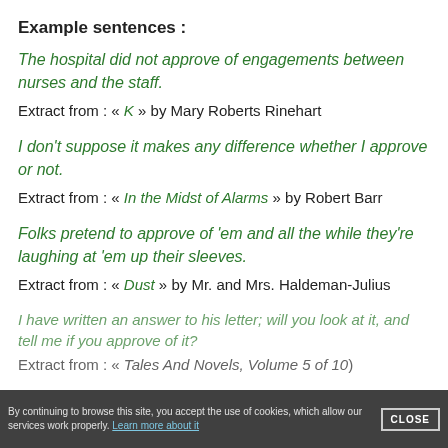Example sentences :
The hospital did not approve of engagements between nurses and the staff.
Extract from : « K » by Mary Roberts Rinehart
I don't suppose it makes any difference whether I approve or not.
Extract from : « In the Midst of Alarms » by Robert Barr
Folks pretend to approve of 'em and all the while they're laughing at 'em up their sleeves.
Extract from : « Dust » by Mr. and Mrs. Haldeman-Julius
I have written an answer to his letter; will you look at it, and tell me if you approve of it?
Extract from : « Tales And Novels, Volume 5 of 10)
By continuing to browse this site, you accept the use of cookies, which allow our services to work properly. Learn more about it CLOSE